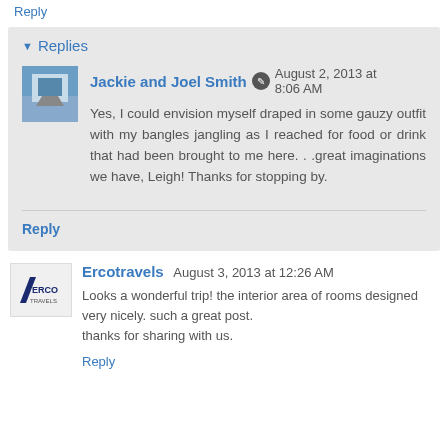Reply
▾ Replies
Jackie and Joel Smith  August 2, 2013 at 8:06 AM
Yes, I could envision myself draped in some gauzy outfit with my bangles jangling as I reached for food or drink that had been brought to me here. . .great imaginations we have, Leigh! Thanks for stopping by.
Reply
Ercotravels  August 3, 2013 at 12:26 AM
Looks a wonderful trip! the interior area of rooms designed very nicely. such a great post.
thanks for sharing with us.
Reply